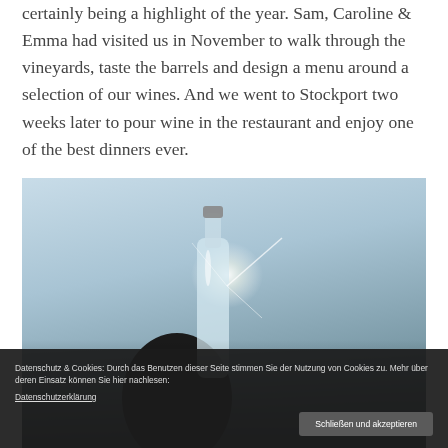certainly being a highlight of the year. Sam, Caroline & Emma had visited us in November to walk through the vineyards, taste the barrels and design a menu around a selection of our wines. And we went to Stockport two weeks later to pour wine in the restaurant and enjoy one of the best dinners ever.
[Figure (photo): A hand holding a wine bottle up against a bright blue sky, with sunlight glinting off the bottle.]
Datenschutz & Cookies: Durch das Benutzen dieser Seite stimmen Sie der Nutzung von Cookies zu. Mehr über deren Einsatz können Sie hier nachlesen: Datenschutzerklärung
Schließen und akzeptieren